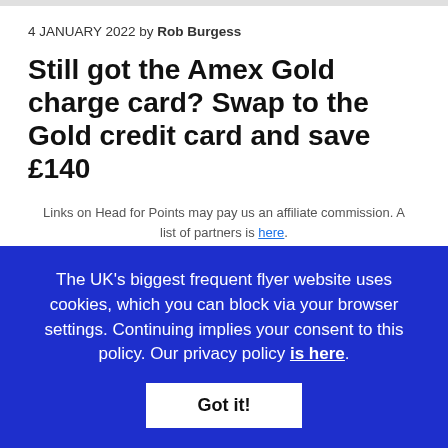4 JANUARY 2022 by Rob Burgess
Still got the Amex Gold charge card? Swap to the Gold credit card and save £140
Links on Head for Points may pay us an affiliate commission. A list of partners is here.
It is now almost four years since American Express withdrew the American Express Preferred Rewards Gold
The UK's biggest frequent flyer website uses cookies, which you can block via your browser settings. Continuing implies your consent to this policy. Our privacy policy is here.
Got it!